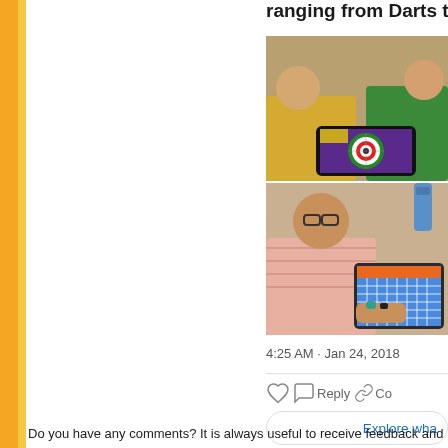ranging from Darts to
[Figure (photo): Two children looking at a tablet displaying a dartboard app with purple background]
[Figure (photo): Child with glasses looking at a tablet displaying a grid/checkerboard pattern app with orange header]
4:25 AM · Jan 24, 2018
Reply  Co
Explore wha
Do you have any comments? It is always useful to receive feedback and b